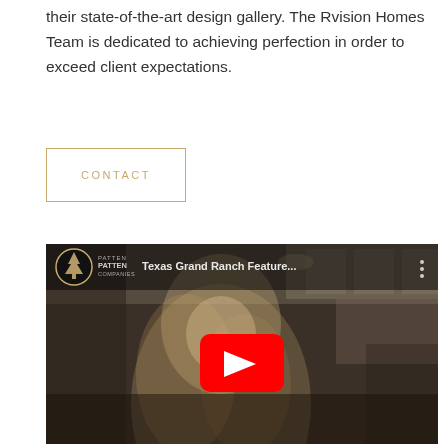their state-of-the-art design gallery. The Rvision Homes Team is dedicated to achieving perfection in order to exceed client expectations.
[Figure (other): CONTACT button with gold/tan border]
[Figure (screenshot): YouTube video thumbnail showing a blonde woman being interviewed indoors, with the title 'Texas Grand Ranch Feature...' and the Patten Companies logo. A red YouTube play button is centered on the video.]